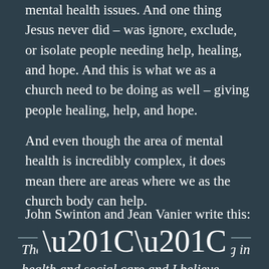mental health issues. And one thing Jesus never did – was ignore, exclude, or isolate people needing help, healing, and hope. And this is what we as a church need to be doing as well – giving people healing, help, and hope.
And even though the area of mental health is incredibly complex, it does mean there are areas where we as the church body can help.
John Swinton and Jean Vanier write this:
The church has a history of pioneering in health and social care and I believe